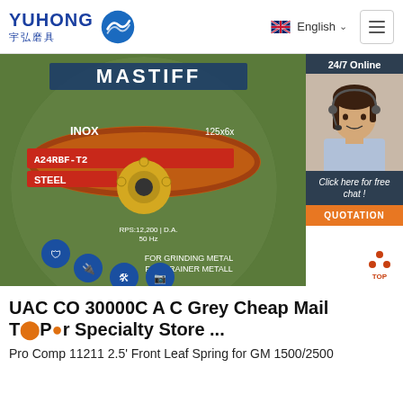YUHONG 宇弘磨具 | English | Navigation menu
[Figure (photo): Circular grinding disc labelled MASTIFF, INOX, A24RBF-T2, STEEL, FOR GRINDING METAL FOR TRAINER METALL, with safety icons in blue circles on grey abrasive surface]
[Figure (photo): 24/7 Online chat widget showing female customer service agent with headset, with 'Click here for free chat!' text and orange QUOTATION button]
UAC CO 30000C A C Grey Cheap Mail Order Specialty Store ...
Pro Comp 11211 2.5' Front Leaf Spring for GM 1500/2500